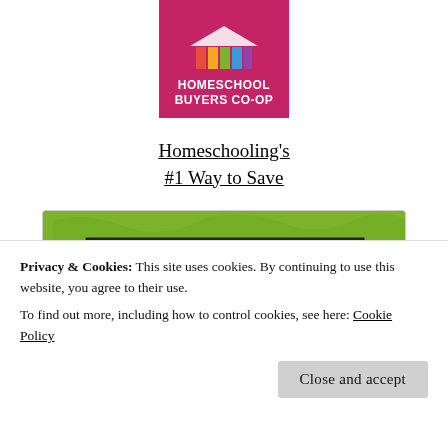[Figure (logo): Homeschool Buyers Co-op logo with pink background and colored building blocks icon]
Homeschooling's #1 Way to Save
[Figure (illustration): Book cover illustration for 'The Heart of Humility' with green scribble background and white title box]
Privacy & Cookies: This site uses cookies. By continuing to use this website, you agree to their use.
To find out more, including how to control cookies, see here: Cookie Policy
Close and accept